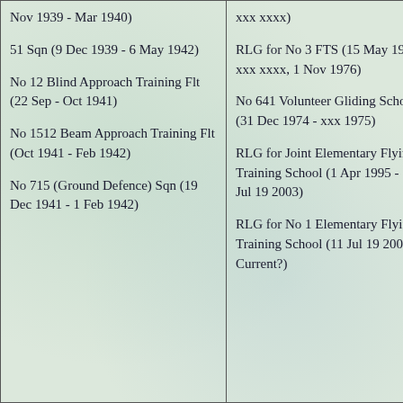| Nov 1939 - Mar 1940)

51 Sqn (9 Dec 1939 - 6 May 1942)

No 12 Blind Approach Training Flt (22 Sep - Oct 1941)

No 1512 Beam Approach Training Flt (Oct 1941 - Feb 1942)

No 715 (Ground Defence) Sqn (19 Dec 1941 - 1 Feb 1942) | xxx xxxx)

RLG for No 3 FTS (15 May 1966 - xxx xxxx, 1 Nov 1976)

No 641 Volunteer Gliding School (31 Dec 1974 - xxx 1975)

RLG for Joint Elementary Flying Training School (1 Apr 1995 - 11 Jul 19 2003)

RLG for No 1 Elementary Flying Training School (11 Jul 19 2003 - Current?) |